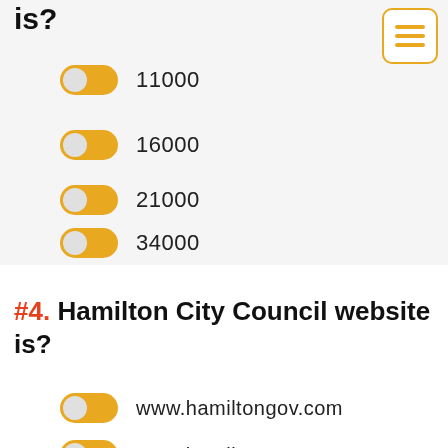is?
11000
16000
21000
34000
#4. Hamilton City Council website is?
www.hamiltongov.com
www.hamilton.gov.nz